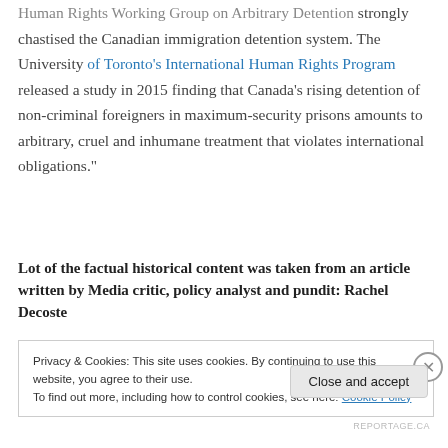Human Rights Working Group on Arbitrary Detention strongly chastised the Canadian immigration detention system. The University of Toronto's International Human Rights Program released a study in 2015 finding that Canada's rising detention of non-criminal foreigners in maximum-security prisons amounts to arbitrary, cruel and inhumane treatment that violates international obligations."
Lot of the factual historical content was taken from an article written by Media critic, policy analyst and pundit: Rachel Decoste
Privacy & Cookies: This site uses cookies. By continuing to use this website, you agree to their use.
To find out more, including how to control cookies, see here: Cookie Policy
Close and accept